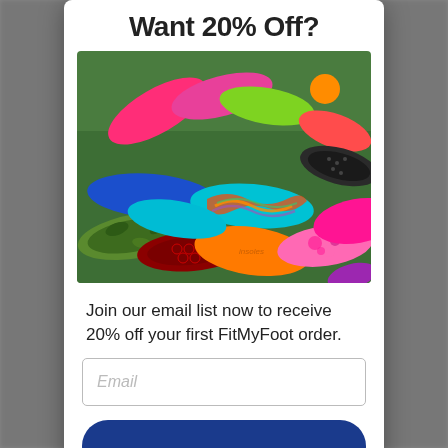Want 20% Off?
[Figure (photo): Colorful shoe insoles of various patterns and colors spread on grass — pink, green, orange, blue, red, floral, swirl patterns]
Join our email list now to receive 20% off your first FitMyFoot order.
Email (input field placeholder)
Button (partially visible at bottom)